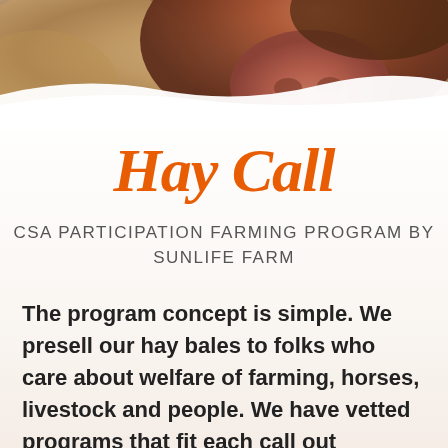[Figure (photo): Close-up photo of a farm animal (likely a horse or cow) face/nose area with reddish-brown fur, shown at top of page with warm earthy tones]
Hay Call
CSA PARTICIPATION FARMING PROGRAM BY SUNLIFE FARM
The program concept is simple. We presell our hay bales to folks who care about welfare of farming, horses, livestock and people. We have vetted programs that fit each call out